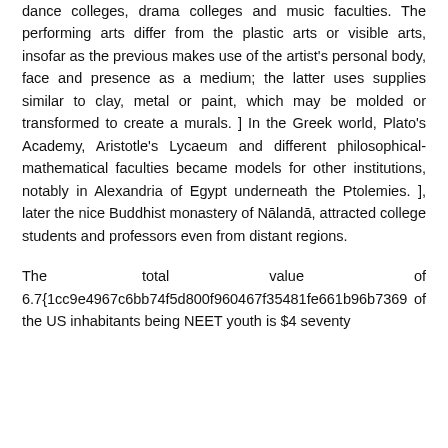dance colleges, drama colleges and music faculties. The performing arts differ from the plastic arts or visible arts, insofar as the previous makes use of the artist's personal body, face and presence as a medium; the latter uses supplies similar to clay, metal or paint, which may be molded or transformed to create a murals. ] In the Greek world, Plato's Academy, Aristotle's Lycaeum and different philosophical-mathematical faculties became models for other institutions, notably in Alexandria of Egypt underneath the Ptolemies. ], later the nice Buddhist monastery of Nālandā, attracted college students and professors even from distant regions.
The total value of 6.7{1cc9e4967c6bb74f5d800f960467f35481fe661b96b7369 of the US inhabitants being NEET youth is $4 seventy